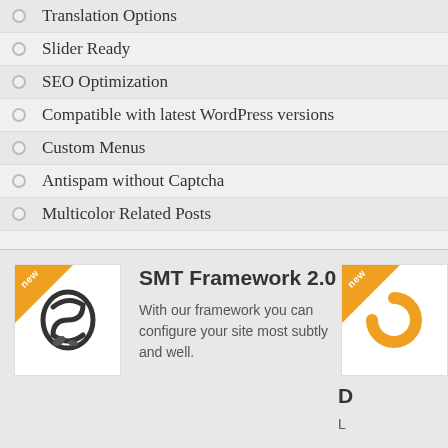Translation Options
Slider Ready
SEO Optimization
Compatible with latest WordPress versions
Custom Menus
Antispam without Captcha
Multicolor Related Posts
[Figure (illustration): SMT Framework 2.0 icon with orange 'new' badge ribbon in top-left corner]
SMT Framework 2.0
With our framework you can configure your site most subtly and well.
[Figure (illustration): Second icon with orange 'new' badge ribbon in top-left corner]
D
L
Custom Sidebars
Social bar